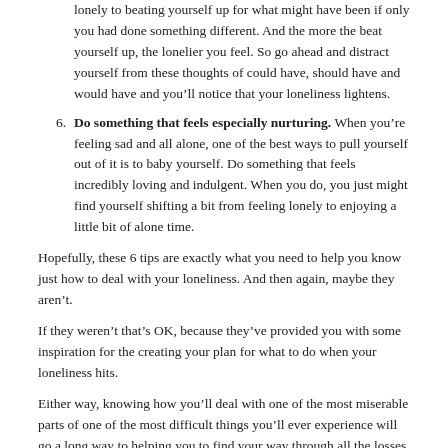lonely to beating yourself up for what might have been if only you had done something different. And the more the beat yourself up, the lonelier you feel. So go ahead and distract yourself from these thoughts of could have, should have and would have and you'll notice that your loneliness lightens.
Do something that feels especially nurturing. When you're feeling sad and all alone, one of the best ways to pull yourself out of it is to baby yourself. Do something that feels incredibly loving and indulgent. When you do, you just might find yourself shifting a bit from feeling lonely to enjoying a little bit of alone time.
Hopefully, these 6 tips are exactly what you need to help you know just how to deal with your loneliness. And then again, maybe they aren't.
If they weren't that's OK, because they've provided you with some inspiration for the creating your plan for what to do when your loneliness hits.
Either way, knowing how you'll deal with one of the most miserable parts of one of the most difficult things you'll ever experience will go a long way to helping you to find your way through all the losses of divorce.